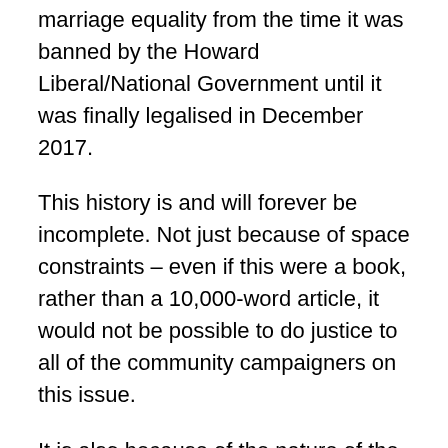marriage equality from the time it was banned by the Howard Liberal/National Government until it was finally legalised in December 2017.
This history is and will forever be incomplete. Not just because of space constraints – even if this were a book, rather than a 10,000-word article, it would not be possible to do justice to all of the community campaigners on this issue.
It is also because of the nature of the marriage equality movement itself. In the words of then-AME convenor Rodney Croome:[57]
“Real change takes time. It’s rare that a single conversation will make the difference,” he said.
“It’s an accumulation of conversations and then there will